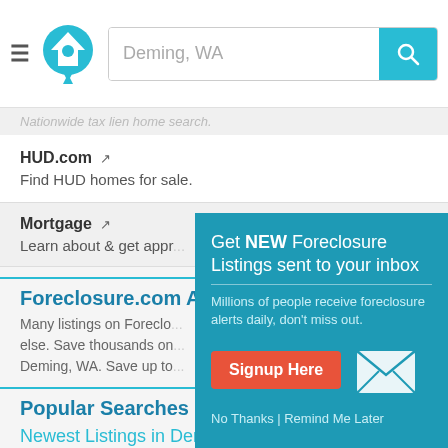Deming, WA [search bar with logo]
Nationwide tax lien home search.
HUD.com
Find HUD homes for sale.
Mortgage
Learn about & get appr...
Foreclosure.com A...
Many listings on Foreclo... else. Save thousands on... Deming, WA. Save up to...
[Figure (screenshot): Popup modal: Get NEW Foreclosure Listings sent to your inbox. Millions of people receive foreclosure alerts daily, don't miss out. Signup Here button. No Thanks | Remind Me Later links. Mail envelope icon.]
Popular Searches
Newest Listings in Deming, WA